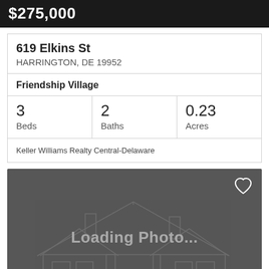$275,000
619 Elkins St
HARRINGTON, DE 19952
Friendship Village
3 Beds  2 Baths  0.23 Acres
Keller Williams Realty Central-Delaware
[Figure (illustration): Loading Photo placeholder with faint house outline illustration and heart icon in top right corner]